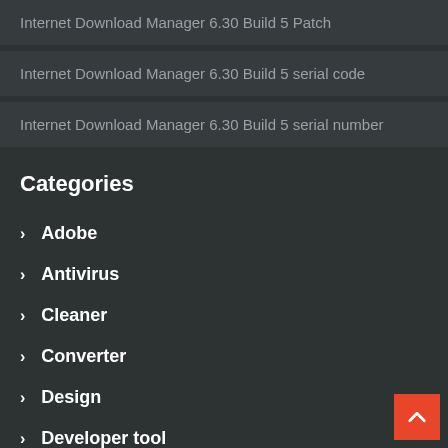Internet Download Manager 6.30 Build 5 Patch
Internet Download Manager 6.30 Build 5 serial code
Internet Download Manager 6.30 Build 5 serial number
Categories
Adobe
Antivirus
Cleaner
Converter
Design
Developer tool
DOWNLOAD MANAGE